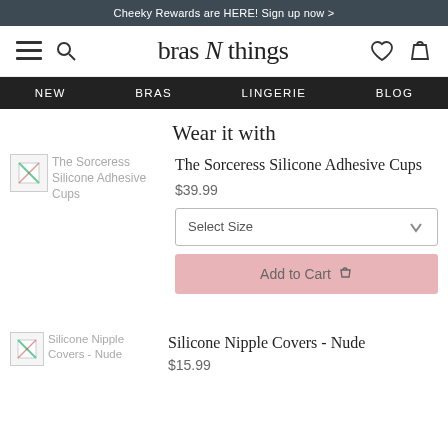Cheeky Rewards are HERE! Sign up now >
[Figure (logo): Bras N Things logo with hamburger menu, search, heart, and bag icons]
NEW  BRAS  LINGERIE  BLOG
Wear it with
[Figure (photo): Broken image placeholder for The Sorceress Silicone Adhesive Cups]
The Sorceress Silicone Adhesive Cups
$39.99
Select Size
Add to Cart
[Figure (photo): Broken image placeholder for Silicone Nipple Covers - Nude]
Silicone Nipple Covers - Nude
$15.99